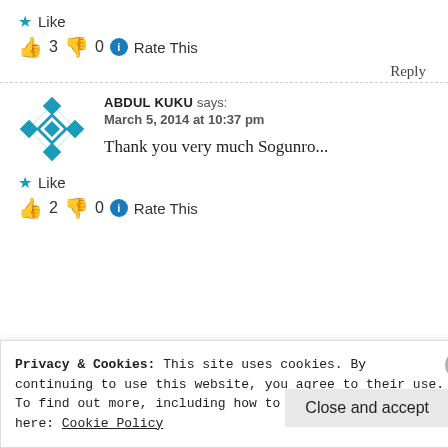★ Like
👍 3  👎 0  ℹ Rate This
Reply
ABDUL KUKU says:
March 5, 2014 at 10:37 pm
Thank you very much Sogunro...
★ Like
👍 2  👎 0  ℹ Rate This
Reply
Privacy & Cookies: This site uses cookies. By continuing to use this website, you agree to their use.
To find out more, including how to control cookies, see here: Cookie Policy
Close and accept